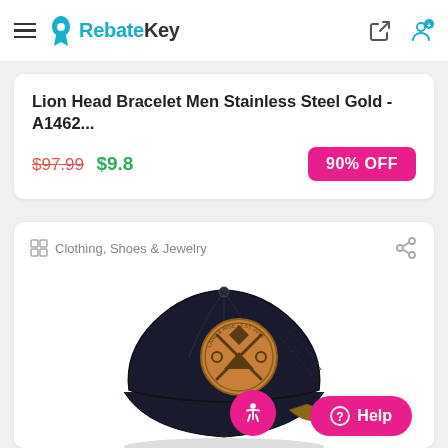RebateKey
Lion Head Bracelet Men Stainless Steel Gold - A1462...
$97.99 $9.8  90% OFF
Clothing, Shoes & Jewelry
[Figure (photo): Navy blue trucker cap with brown circular leather patch featuring X and mountain/diamond design, photographed on white background]